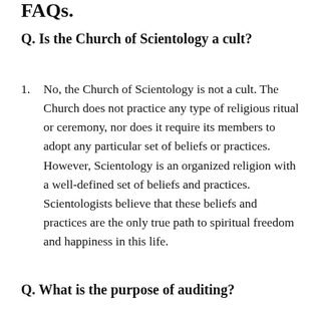FAQs.
Q. Is the Church of Scientology a cult?
No, the Church of Scientology is not a cult. The Church does not practice any type of religious ritual or ceremony, nor does it require its members to adopt any particular set of beliefs or practices. However, Scientology is an organized religion with a well-defined set of beliefs and practices. Scientologists believe that these beliefs and practices are the only true path to spiritual freedom and happiness in this life.
Q. What is the purpose of auditing?